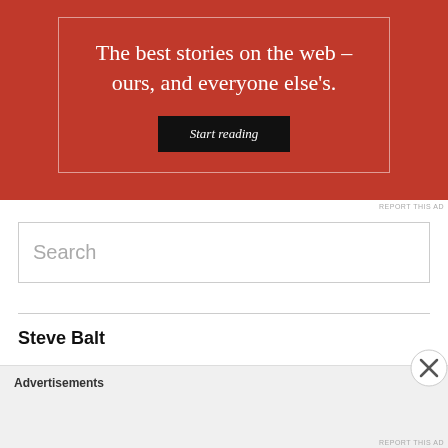[Figure (illustration): Red advertisement banner with white serif text reading 'The best stories on the web – ours, and everyone else's.' with a black 'Start reading' button, surrounded by a thin white inner border]
REPORT THIS AD
Search
Steve Balt
All posts, unless otherwise noted, are written by Steve Balt, MD. Read
Advertisements